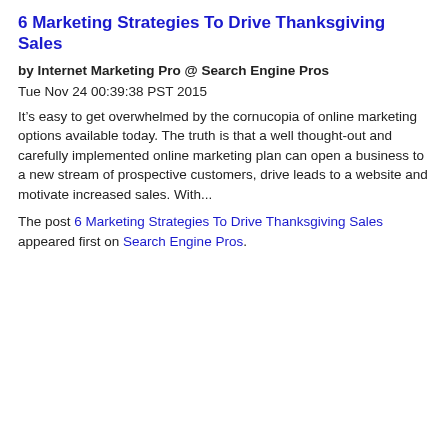6 Marketing Strategies To Drive Thanksgiving Sales
by Internet Marketing Pro @ Search Engine Pros
Tue Nov 24 00:39:38 PST 2015
It’s easy to get overwhelmed by the cornucopia of online marketing options available today. The truth is that a well thought-out and carefully implemented online marketing plan can open a business to a new stream of prospective customers, drive leads to a website and motivate increased sales. With...
The post 6 Marketing Strategies To Drive Thanksgiving Sales appeared first on Search Engine Pros.